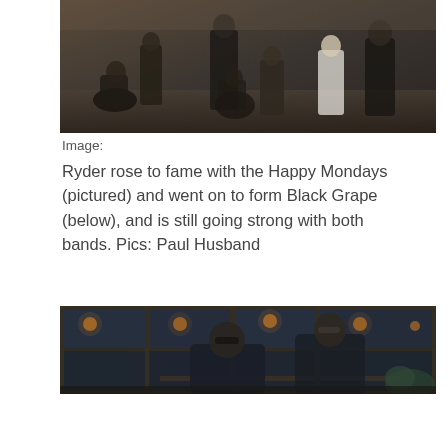[Figure (photo): Group photo of Happy Mondays band members posed in a studio setting with dark/sandy background]
Image:
Ryder rose to fame with the Happy Mondays (pictured) and went on to form Black Grape (below), and is still going strong with both bands. Pics: Paul Husband
[Figure (photo): Two people sitting at a table inside what appears to be a bar or cafe with large glass windows, industrial interior]